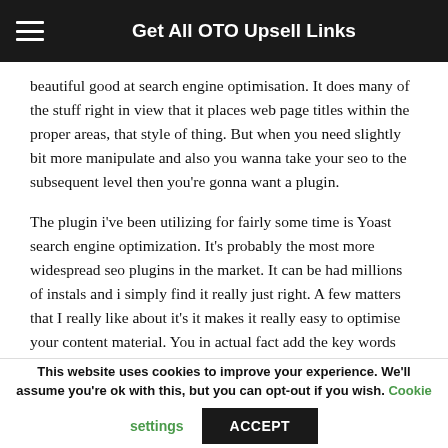Get All OTO Upsell Links
beautiful good at search engine optimisation. It does many of the stuff right in view that it places web page titles within the proper areas, that style of thing. But when you need slightly bit more manipulate and also you wanna take your seo to the subsequent level then you're gonna want a plugin.
The plugin i've been utilizing for fairly some time is Yoast search engine optimization. It's probably the most more widespread seo plugins in the market. It can be had millions of instals and i simply find it really just right. A few matters that I really like about it's it makes it really easy to optimise your content material. You in actual fact add the key words
This website uses cookies to improve your experience. We'll assume you're ok with this, but you can opt-out if you wish. Cookie settings ACCEPT